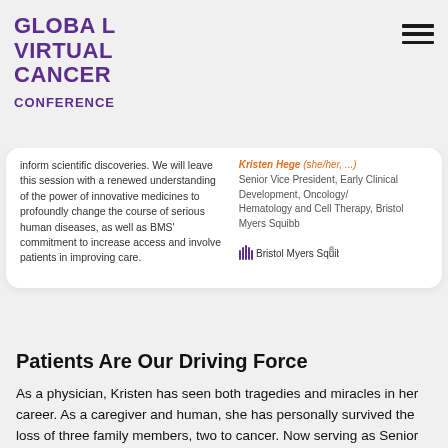GLOBAL VIRTUAL CANCER CONFERENCE
inform scientific discoveries. We will leave this session with a renewed understanding of the power of innovative medicines to profoundly change the course of serious human diseases, as well as BMS’ commitment to increase access and involve patients in improving care.
Kristen Hege (she/her, ...) Senior Vice President, Early Clinical Development, Oncology/Hematology and Cell Therapy, Bristol Myers Squibb
[Figure (logo): Bristol Myers Squibb logo with hand icon]
Patients Are Our Driving Force
As a physician, Kristen has seen both tragedies and miracles in her career. As a caregiver and human, she has personally survived the loss of three family members, two to cancer. Now serving as Senior Vice President of Early Clinical Development, Hematology/Oncology & Cell Therapy at Bristol Myers Squibb (BMS), she and her team investigate new ways to transform patients’ lives